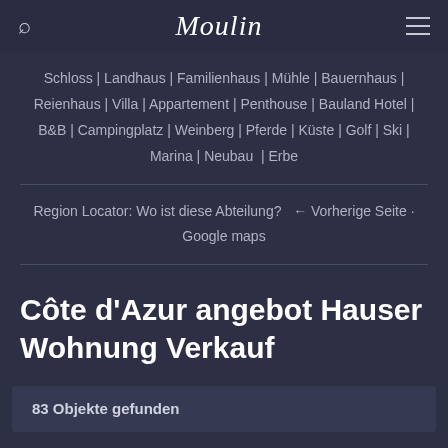Moulin
Schloss | Landhaus | Familienhaus | Mühle | Bauernhaus | Reienhaus | Villa | Appartement | Penthouse | Bauland Hotel | B&B | Campingplatz | Weinberg | Pferde | Küste | Golf | Ski | Marina | Neubau | Erbe
Region Locator: Wo ist diese Abteilung? ← Vorherige Seite Google maps
Côte d'Azur angebot Hauser Wohnung Verkauf
83 Objekte gefunden